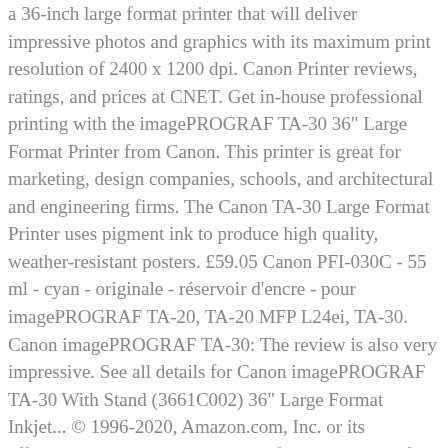a 36-inch large format printer that will deliver impressive photos and graphics with its maximum print resolution of 2400 x 1200 dpi. Canon Printer reviews, ratings, and prices at CNET. Get in-house professional printing with the imagePROGRAF TA-30 36" Large Format Printer from Canon. This printer is great for marketing, design companies, schools, and architectural and engineering firms. The Canon TA-30 Large Format Printer uses pigment ink to produce high quality, weather-resistant posters. £59.05 Canon PFI-030C - 55 ml - cyan - originale - réservoir d'encre - pour imagePROGRAF TA-20, TA-20 MFP L24ei, TA-30. Canon imagePROGRAF TA-30: The review is also very impressive. See all details for Canon imagePROGRAF TA-30 With Stand (3661C002) 36" Large Format Inkjet... © 1996-2020, Amazon.com, Inc. or its affiliates. The agents were all very friendly and helpful. Canon imagePROGRAF TA-30 3661C005AA. CANON IMAGEPROGRAF TA-30 WITH STAND. Canon imagePROGRAF TA-30 Inkjet Printer Review Canon imagePROGRAF TA-30 Inkjet Printer is a high quality and best available printer in the